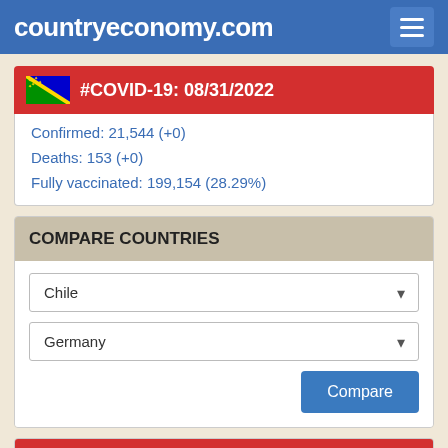countryeconomy.com
#COVID-19: 08/31/2022
Confirmed: 21,544 (+0)
Deaths: 153 (+0)
Fully vaccinated: 199,154 (28.29%)
COMPARE COUNTRIES
Chile
Germany
LATEST PUBLISHED DATA
Producer price goes down in July of 2022 in Georgia